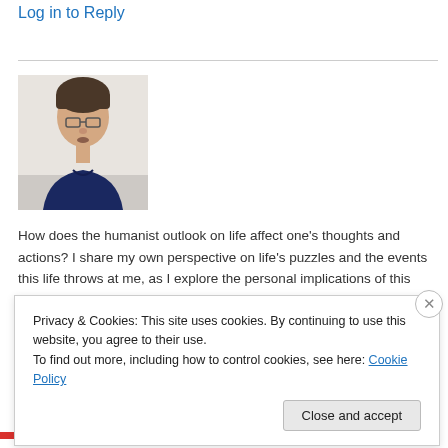Log in to Reply
[Figure (photo): Headshot photo of a young man with glasses and dark hair wearing a navy blue v-neck sweater, photographed against a light background.]
How does the humanist outlook on life affect one's thoughts and actions? I share my own perspective on life's puzzles and the events this life throws at me, as I explore the personal implications of this noble
Privacy & Cookies: This site uses cookies. By continuing to use this website, you agree to their use.
To find out more, including how to control cookies, see here: Cookie Policy
Close and accept